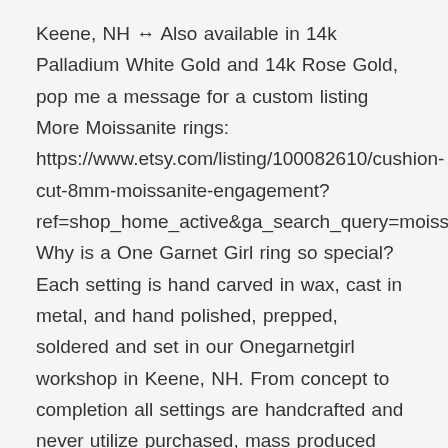Keene, NH ↔ Also available in 14k Palladium White Gold and 14k Rose Gold, pop me a message for a custom listing More Moissanite rings: https://www.etsy.com/listing/100082610/cushion-cut-8mm-moissanite-engagement?ref=shop_home_active&ga_search_query=moissanite Why is a One Garnet Girl ring so special? Each setting is hand carved in wax, cast in metal, and hand polished, prepped, soldered and set in our Onegarnetgirl workshop in Keene, NH. From concept to completion all settings are handcrafted and never utilize purchased, mass produced components. Feedback on my craftsmanship: "This ring was exactly what my now fiancee was looking for. The craftsmanship is amazing and the ring fit perfectly everyone says how beautiful it is. We [Chat with us] back for our wedding bands." -Fraser Li[...] ive the Favorite button a click!